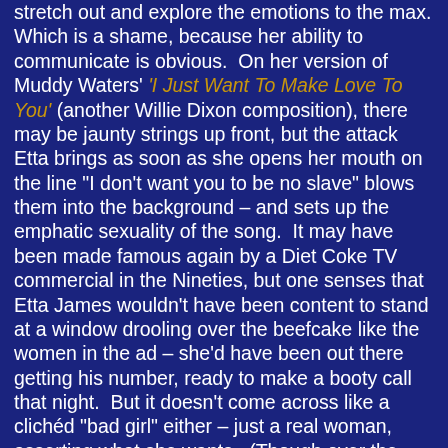stretch out and explore the emotions to the max. Which is a shame, because her ability to communicate is obvious. On her version of Muddy Waters' 'I Just Want To Make Love To You' (another Willie Dixon composition), there may be jaunty strings up front, but the attack Etta brings as soon as she opens her mouth on the line "I don't want you to be no slave" blows them into the background – and sets up the emphatic sexuality of the song. It may have been made famous again by a Diet Coke TV commercial in the Nineties, but one senses that Etta James wouldn't have been content to stand at a window drooling over the beefcake like the women in the ad – she'd have been out there getting his number, ready to make a booty call that night. But it doesn't come across like a clichéd "bad girl" either – just a real woman, asserting what she wants. (Though over the years it seems her live act tended to push the boundaries rather more overtly.) If the Sixties were the time of her hits, she still managed to produce strong albums thereafter, like 1974's Come A Little Closer, when she was just about at rock bottom, The Right Time (1999) and In the Bell (2003), ...